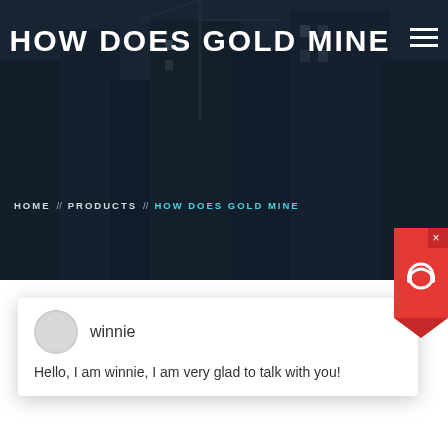HOW DOES GOLD MINE
HOME // PRODUCTS // HOW DOES GOLD MINE
[Figure (screenshot): Chat popup with avatar circle, name 'winnie', close button (×), and message: Hello, I am winnie, I am very glad to talk with you!]
[Figure (infographic): Red chat widget icon with headset and X button in top right corner]
Latest Projects
[Figure (photo): Industrial machinery equipment photo - crushing/screening equipment in a factory setting]
1